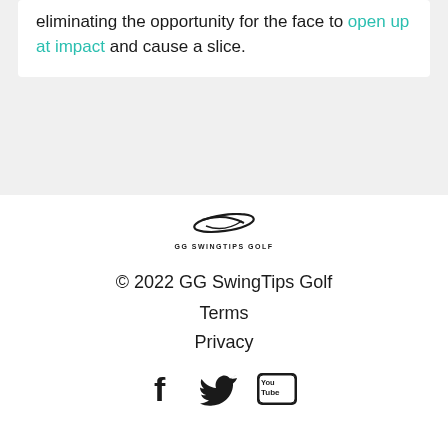eliminating the opportunity for the face to open up at impact and cause a slice.
[Figure (logo): GG Swing Tips Golf logo — stylized oval swoosh above text GG SWINGTIPS GOLF]
© 2022 GG SwingTips Golf
Terms
Privacy
[Figure (other): Social media icons: Facebook, Twitter, YouTube]